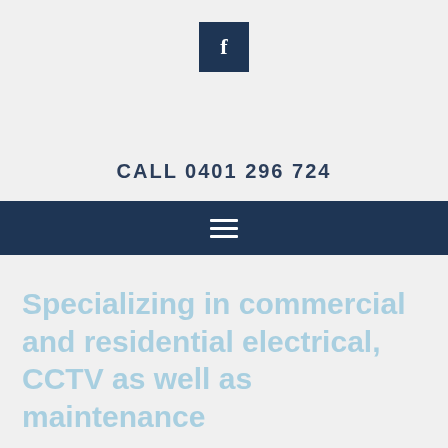[Figure (logo): Facebook icon — dark navy blue square with white letter f]
CALL 0401 296 724
[Figure (other): Dark navy navigation bar with hamburger menu icon (three white horizontal lines)]
Specializing in commercial and residential electrical, CCTV as well as maintenance